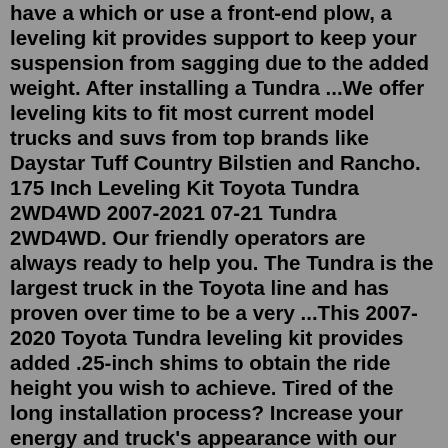have a which or use a front-end plow, a leveling kit provides support to keep your suspension from sagging due to the added weight. After installing a Tundra ...We offer leveling kits to fit most current model trucks and suvs from top brands like Daystar Tuff Country Bilstien and Rancho. 175 Inch Leveling Kit Toyota Tundra 2WD4WD 2007-2021 07-21 Tundra 2WD4WD. Our friendly operators are always ready to help you. The Tundra is the largest truck in the Toyota line and has proven over time to be a very ...This 2007-2020 Toyota Tundra leveling kit provides added .25-inch shims to obtain the ride height you wish to achieve. Tired of the long installation process? Increase your energy and truck's appearance with our bolt-on installation level kit, featuring a unique design that allows the install process without strut or spring disassembly ...2007-2019 Toyota Tundra 3" Front Leveling Kit. Skip to main content. Shop by category. Shop by category. Enter your search keyword. Advanced Fabtech offers a wide range of lift kits for the 2000-18 Toyota Tundra. So if you're